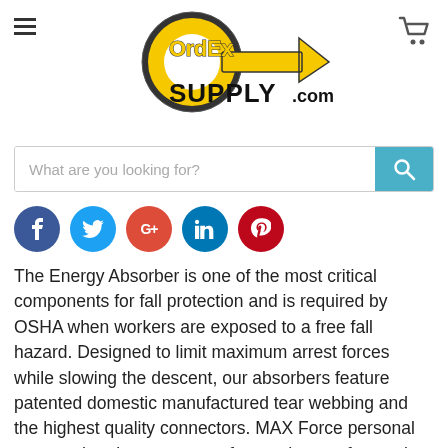[Figure (logo): OrdEx Supply.com logo — circular O with arrow, yellow and black text]
[Figure (other): Search bar with placeholder 'What are you looking for?' and teal search button]
[Figure (other): Social media icons: Facebook, Twitter, Google+, LinkedIn, Pinterest]
The Energy Absorber is one of the most critical components for fall protection and is required by OSHA when workers are exposed to a free fall hazard. Designed to limit maximum arrest forces while slowing the descent, our absorbers feature patented domestic manufactured tear webbing and the highest quality connectors. MAX Force personal energy absorbers are manufactured at our factory in Monroe, WA and are ensured for component compatibility with all Super Anchor Safety Personal Protection Equipment. An absolute must for fall protection. Our